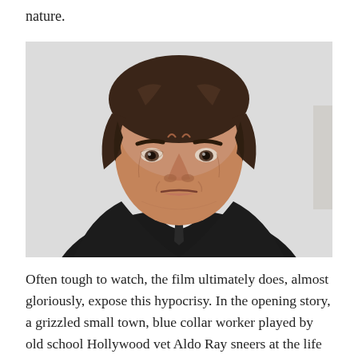nature.
[Figure (photo): Close-up photograph of a man with shaggy dark brown hair, deeply furrowed brow, intense scowling expression, wearing a dark suit jacket and white shirt with dark tie, photographed against a light background.]
Often tough to watch, the film ultimately does, almost gloriously, expose this hypocrisy. In the opening story, a grizzled small town, blue collar worker played by old school Hollywood vet Aldo Ray sneers at the life choices